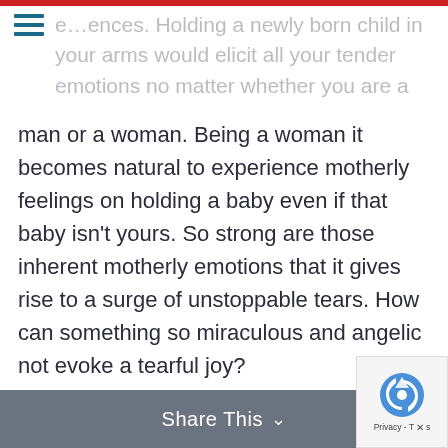e…ences. Holding a newly born child in your arms would elicit all your tender emotions no matter whether you are a man or a woman. Being a woman it becomes natural to experience motherly feelings on holding a baby even if that baby isn't yours. So strong are those inherent motherly emotions that it gives rise to a surge of unstoppable tears. How can something so miraculous and angelic not evoke a tearful joy?
Share This